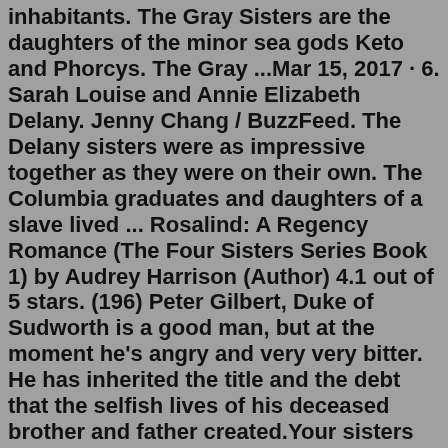inhabitants. The Gray Sisters are the daughters of the minor sea gods Keto and Phorcys. The Gray ...Mar 15, 2017 · 6. Sarah Louise and Annie Elizabeth Delany. Jenny Chang / BuzzFeed. The Delany sisters were as impressive together as they were on their own. The Columbia graduates and daughters of a slave lived ... Rosalind: A Regency Romance (The Four Sisters Series Book 1) by Audrey Harrison (Author) 4.1 out of 5 stars. (196) Peter Gilbert, Duke of Sudworth is a good man, but at the moment he's angry and very very bitter. He has inherited the title and the debt that the selfish lives of his deceased brother and father created.Your sisters are so beautiful. But where is your mom? Is she coming? I'm Grace, CJ's mom. Oh, come on. You must be kidding! You must be joking. She looks just like your sister. Welcome Grace! I'm Honey Boy. You can call me Honey, but my wife would prefer you call me Boy. - Call me Boy. - Okay, Boy. Dad, let me introduce to you my big sisters ...Compared to other women living thousands of years ago in Asia, sisters Trac and Nhi